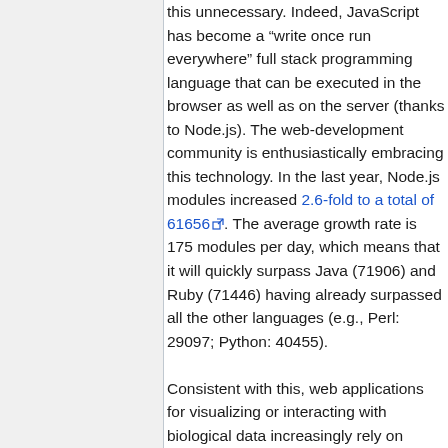this unnecessary. Indeed, JavaScript has become a “write once run everywhere” full stack programming language that can be executed in the browser as well as on the server (thanks to Node.js). The web-development community is enthusiastically embracing this technology. In the last year, Node.js modules increased 2.6-fold to a total of 61656. The average growth rate is 175 modules per day, which means that it will quickly surpass Java (71906) and Ruby (71446) having already surpassed all the other languages (e.g., Perl: 29097; Python: 40455).
Consistent with this, web applications for visualizing or interacting with biological data increasingly rely on